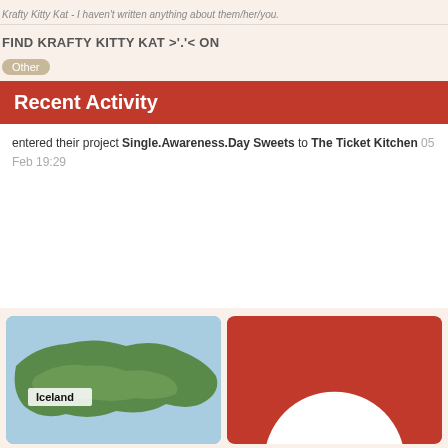Krafty Kitty Kat - I haven't written anything about them/her/you.
FIND KRAFTY KITTY KAT >'.'< ON
Other
Recent Activity
entered their project Single.Awareness.Day Sweets to The Ticket Kitchen 05 Feb 19:29
[Figure (map): Map showing Iceland]
[Figure (illustration): Red card with white circle at bottom center]